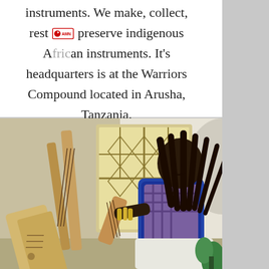instruments. We make, collect, rest [AMN logo] preserve indigenous African instruments. It's headquarters is at the Warriors Compound located in Arusha, Tanzania.
[Figure (photo): A person with long dreadlocks wearing a blue vest over a plaid shirt and white garment, holding and playing a traditional African stringed instrument (resembling a krar/lyre). Several other wooden instruments are displayed in front of a window with metal grilles, at the Warriors Compound in Arusha, Tanzania.]